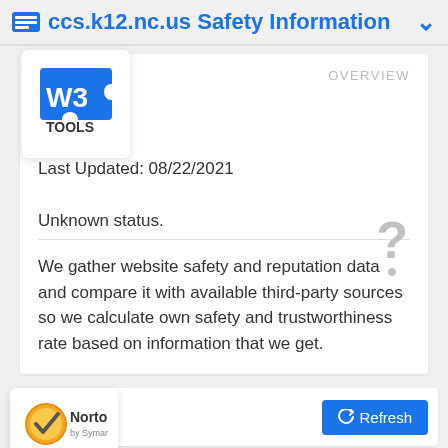ccs.k12.nc.us Safety Information
OVERVIEW
[Figure (logo): W3 Tools logo — blue puzzle piece with W3 text and TOOLS below]
Last Updated: 08/22/2021
Unknown status.
We gather website safety and reputation data and compare it with available third-party sources so we calculate own safety and trustworthiness rate based on information that we get.
[Figure (logo): Norton by Symantec logo — checkmark in gold/orange circle with Norton text]
Refresh